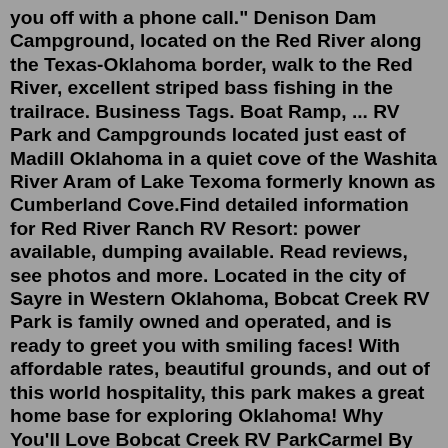you off with a phone call." Denison Dam Campground, located on the Red River along the Texas-Oklahoma border, walk to the Red River, excellent striped bass fishing in the trailrace. Business Tags. Boat Ramp, ... RV Park and Campgrounds located just east of Madill Oklahoma in a quiet cove of the Washita River Aram of Lake Texoma formerly known as Cumberland Cove.Find detailed information for Red River Ranch RV Resort: power available, dumping available. Read reviews, see photos and more. Located in the city of Sayre in Western Oklahoma, Bobcat Creek RV Park is family owned and operated, and is ready to greet you with smiling faces! With affordable rates, beautiful grounds, and out of this world hospitality, this park makes a great home base for exploring Oklahoma! Why You'll Love Bobcat Creek RV ParkCarmel By The River RV Park California. Saddle Mountain Rec Area California. Castaic Lake RV Park California. Valencia Travel Village California. North Shore ...